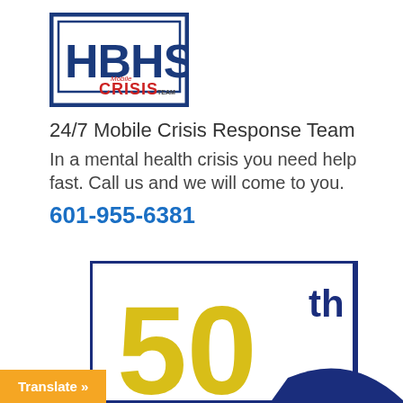[Figure (logo): HBHS Mobile Crisis Team logo — bold blue square border with HBHS letters in dark blue and 'Mobile CRISIS TEAM' text in red below]
24/7 Mobile Crisis Response Team
In a mental health crisis you need help fast. Call us and we will come to you.
601-955-6381
[Figure (illustration): Bottom partial graphic showing a dark navy blue framed box with large golden/yellow '50' and superscript 'th' text, with a dark blue curved swoosh element. An orange 'Translate »' button overlay at bottom-left.]